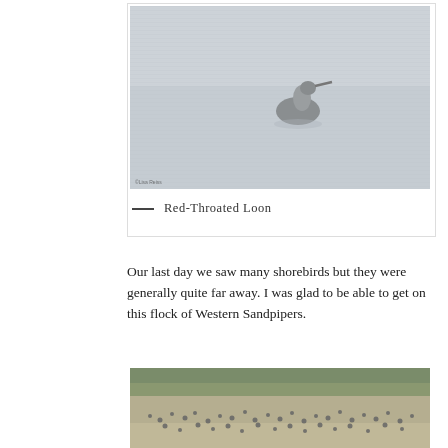[Figure (photo): A Red-Throated Loon swimming on water, seen from a distance. The water surface has a grey, rippled texture. A small watermark is visible in the bottom-left corner of the photo.]
— Red-Throated Loon
Our last day we saw many shorebirds but they were generally quite far away. I was glad to be able to get on this flock of Western Sandpipers.
[Figure (photo): A flock of Western Sandpipers in a field or mudflat, with green vegetation in the background. Many small birds visible across the frame.]